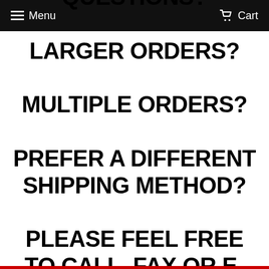Menu  Cart
QUESTIONS?
LARGER ORDERS?
MULTIPLE ORDERS?
PREFER A DIFFERENT SHIPPING METHOD?
PLEASE FEEL FREE TO CALL, FAX OR E-MAIL!